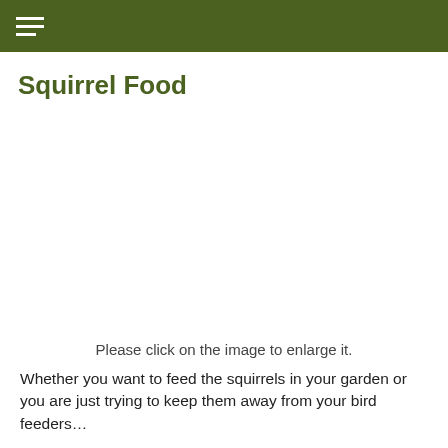☰
Squirrel Food
[Figure (photo): Image placeholder area for squirrel food photo (blank/white in this view)]
Please click on the image to enlarge it.
Whether you want to feed the squirrels in your garden or you are just trying to keep them away from your bird feeders…